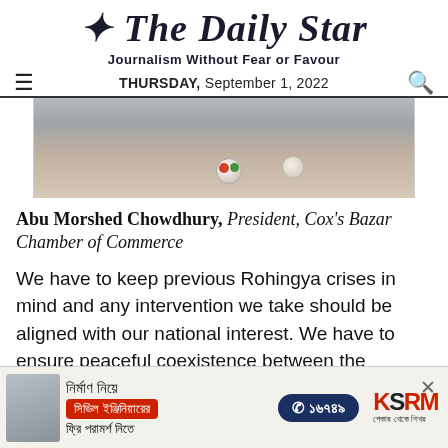The Daily Star — Journalism Without Fear or Favour — THURSDAY, September 1, 2022
[Figure (photo): Close-up photo of a person in a grey suit jacket with lapel pins, cropped at chest level]
Abu Morshed Chowdhury, President, Cox's Bazar Chamber of Commerce
We have to keep previous Rohingya crises in mind and any intervention we take should be aligned with our national interest. We have to ensure peaceful coexistence between the
[Figure (infographic): Advertisement banner for civil engineering construction consultation service with Bengali text, phone number 16749, and KSRM brand logo]